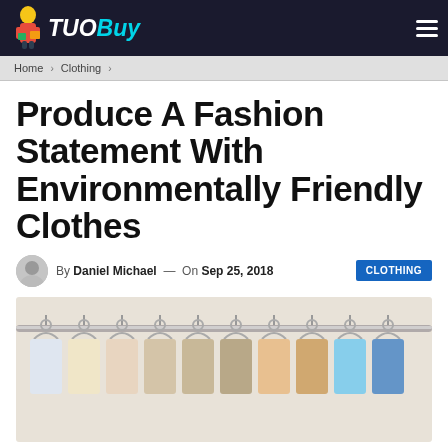TuoBuy — Home > Clothing >
Produce A Fashion Statement With Environmentally Friendly Clothes
By Daniel Michael — On Sep 25, 2018 CLOTHING
[Figure (photo): Row of colorful clothes hanging on hangers on a metal rack, viewed from an angle.]